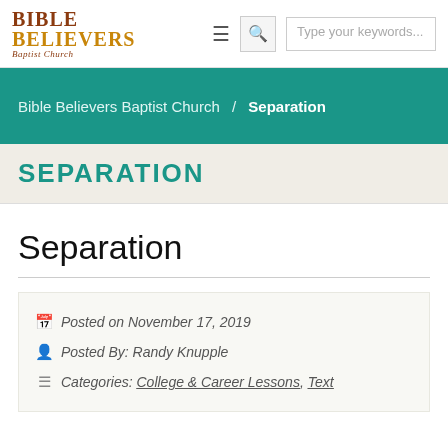[Figure (logo): Bible Believers Baptist Church logo with stylized text]
Bible Believers Baptist Church / Separation
SEPARATION
Separation
Posted on November 17, 2019
Posted By: Randy Knupple
Categories: College & Career Lessons, Text